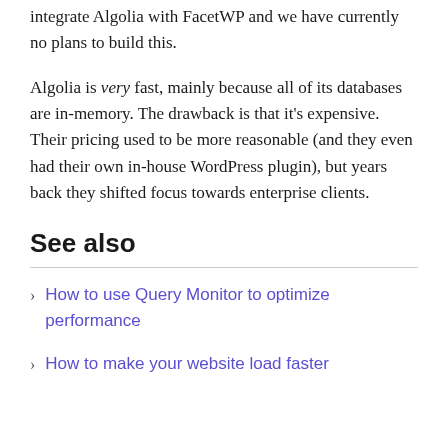integrate Algolia with FacetWP and we have currently no plans to build this.
Algolia is very fast, mainly because all of its databases are in-memory. The drawback is that it's expensive. Their pricing used to be more reasonable (and they even had their own in-house WordPress plugin), but years back they shifted focus towards enterprise clients.
See also
How to use Query Monitor to optimize performance
How to make your website load faster